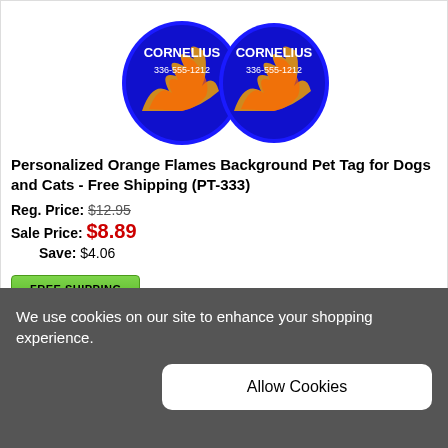[Figure (photo): Two circular pet tags with blue and orange flames background, text CORNELIUS 336-555-1212]
Personalized Orange Flames Background Pet Tag for Dogs and Cats - Free Shipping (PT-333)
Reg. Price: $12.95
Sale Price: $8.89
Save: $4.06
[Figure (other): Green FREE SHIPPING button]
ITEM: PT-333
[Figure (photo): Blue flames pet tag partially visible at bottom]
We use cookies on our site to enhance your shopping experience.
Allow Cookies